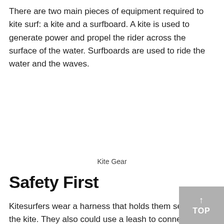There are two main pieces of equipment required to kite surf: a kite and a surfboard. A kite is used to generate power and propel the rider across the surface of the water. Surfboards are used to ride the water and the waves.
Kite Gear
Safety First
Kitesurfers wear a harness that holds them securely to the kite. They also could use a leash to connect themselves to the board. If you fall